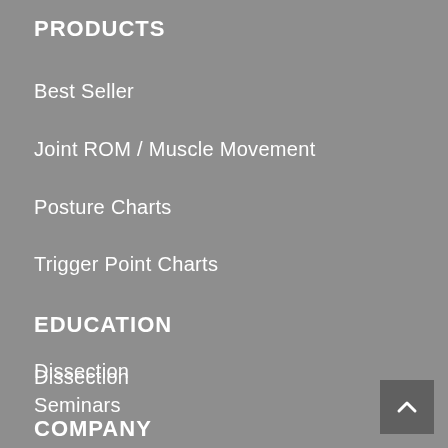PRODUCTS
Best Seller
Joint ROM / Muscle Movement
Posture Charts
Trigger Point Charts
EDUCATION
Dissection
Seminars
Webcasts
COMPANY